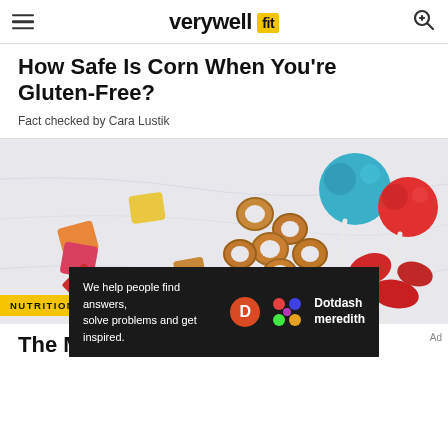verywell fit
How Safe Is Corn When You're Gluten-Free?
Fact checked by Cara Lustik
[Figure (photo): Assorted colorful candies including gummies, caramels, lollipops, and hard candies scattered on a white marble surface]
NUTRITION FACTS
The Most Comprehensive
We help people find answers, solve problems and get inspired. Dotdash meredith